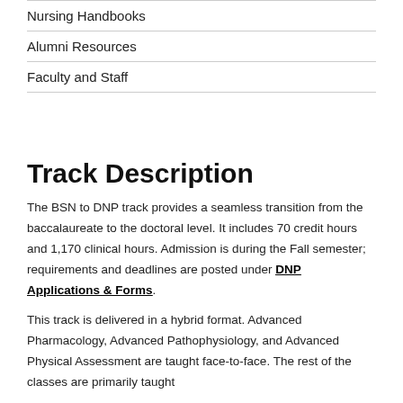Nursing Handbooks
Alumni Resources
Faculty and Staff
Track Description
The BSN to DNP track provides a seamless transition from the baccalaureate to the doctoral level. It includes 70 credit hours and 1,170 clinical hours. Admission is during the Fall semester; requirements and deadlines are posted under DNP Applications & Forms.
This track is delivered in a hybrid format. Advanced Pharmacology, Advanced Pathophysiology, and Advanced Physical Assessment are taught face-to-face. The rest of the classes are primarily taught...